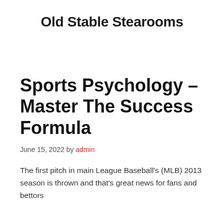Old Stable Stearooms
Sports Psychology – Master The Success Formula
June 15, 2022 by admin
The first pitch in main League Baseball's (MLB) 2013 season is thrown and that's great news for fans and bettors